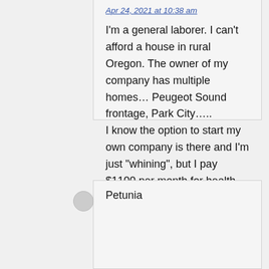Apr 24, 2021 at 10:38 am
I'm a general laborer. I can't afford a house in rural Oregon. The owner of my company has multiple homes… Peugeot Sound frontage, Park City…..
I know the option to start my own company is there and I'm just "whining", but I pay $1100 per month for health insurance through this company, which is likely less than a tank of gas on the owners yacht. No loyalty here.
Petunia